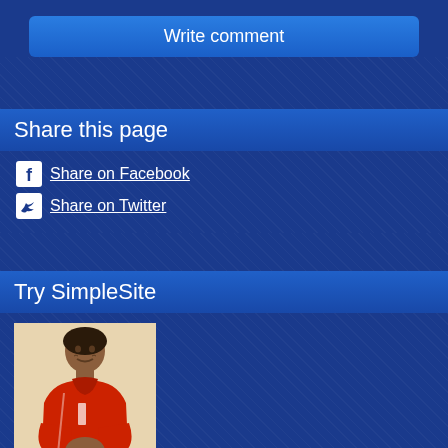[Figure (other): Write comment button — blue rounded rectangle]
Share this page
Share on Facebook
Share on Twitter
Try SimpleSite
[Figure (photo): Profile photo of a person wearing a red jacket, standing and smiling]
Try SimpleSite for free
[Figure (other): Start your free trial now! button — blue rounded rectangle]